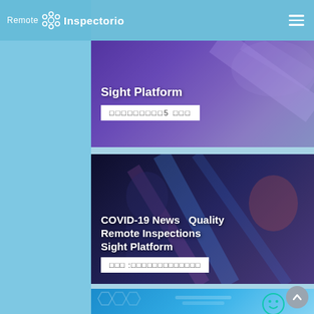Remote Inspectorio
[Figure (screenshot): Card with purple/violet overlay background showing Sight Platform title and a button with Thai script characters and '5']
Sight Platform
□□□□□□□□□5 □□□
[Figure (screenshot): Dark blue/purple background card with people wearing masks, showing COVID-19 News Quality Remote Inspections Sight Platform labels and Thai button]
COVID-19 News  Quality
Remote Inspections
Sight Platform
□□□ :□□□□□□□□□□□□□
[Figure (screenshot): Light blue card at bottom showing a manufacturing/factory scene with smiley face icons]